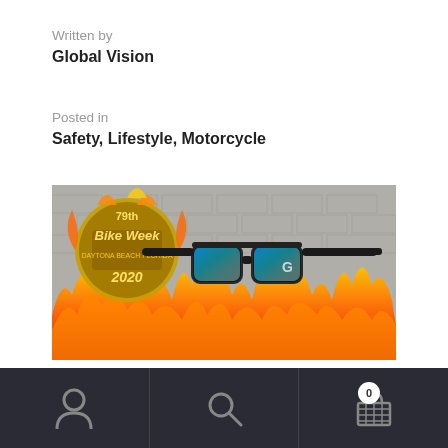Written by
Global Vision
Posted in
Safety, Lifestyle, Motorcycle
[Figure (photo): Promotional image showing motorcycle sunglasses with blue mirror lenses against a brick wall background with flames. A '79th Bike Week 2020' logo badge is visible on the left side of the image.]
Navigation bar with user icon, search icon, and shopping cart icon with badge showing 0